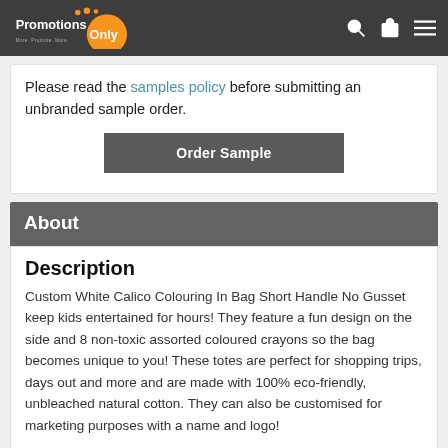PromotionsOnly
Please read the samples policy before submitting an unbranded sample order.
Order Sample
About
Description
Custom White Calico Colouring In Bag Short Handle No Gusset keep kids entertained for hours! They feature a fun design on the side and 8 non-toxic assorted coloured crayons so the bag becomes unique to you! These totes are perfect for shopping trips, days out and more and are made with 100% eco-friendly, unbleached natural cotton. They can also be customised for marketing purposes with a name and logo!